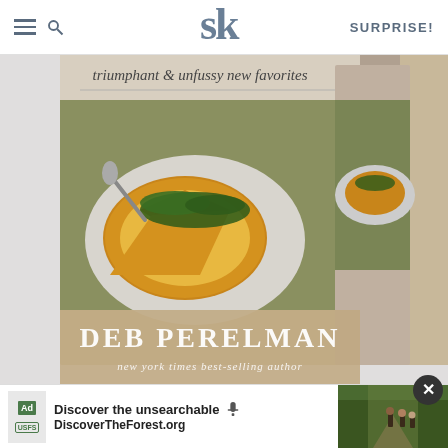SK (Smitten Kitchen logo) | SURPRISE!
[Figure (photo): Book cover of Smitten Kitchen cookbook by Deb Perelman showing a frittata on a white plate with arugula on top, with text 'triumphant & unfussy new favorites', 'DEB PERELMAN', and 'new york times best-selling author']
AS AN A... HASES.
[Figure (screenshot): Advertisement banner for DiscoverTheForest.org with text 'Discover the unsearchable' and 'DiscoverTheForest.org', showing Ad label, microphone icon, US Forest Service logo, and a photo of hikers in a forest. Close button (X) in dark circle at top right.]